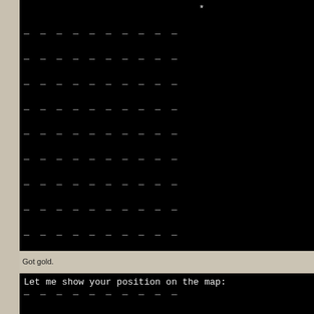[Figure (screenshot): Terminal/text-adventure game screenshot showing a map grid of dashes with an asterisk marker, followed by game text commands including 'show', 'get gold', 'go south' interactions]
Got gold.
[Figure (screenshot): Second terminal screenshot showing 'Let me show your position on the map:' followed by two rows of dashes representing the map grid]